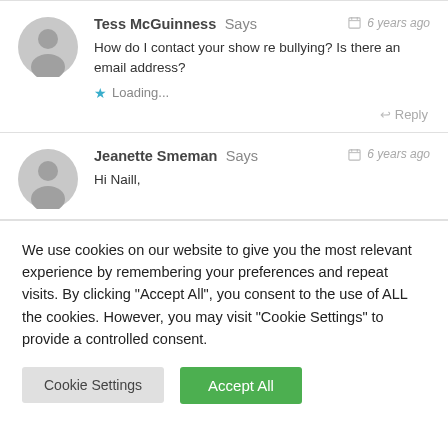Tess McGuinness Says — 6 years ago
How do I contact your show re bullying? Is there an email address?
Loading...
Reply
Jeanette Smeman Says — 6 years ago
Hi Naill,
We use cookies on our website to give you the most relevant experience by remembering your preferences and repeat visits. By clicking "Accept All", you consent to the use of ALL the cookies. However, you may visit "Cookie Settings" to provide a controlled consent.